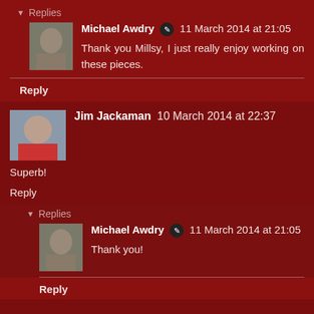▾ Replies
Michael Awdry ✏ 11 March 2014 at 21:05
Thank you Millsy, I just really enjoy working on these pieces.
Reply
Jim Jackaman  10 March 2014 at 22:37
Superb!
Reply
▾ Replies
Michael Awdry ✏ 11 March 2014 at 21:05
Thank you!
Reply